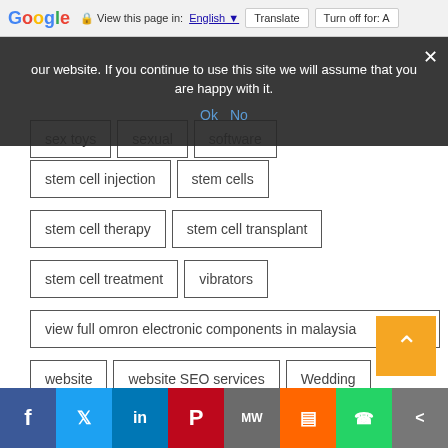Google   View this page in: English  Translate  Turn off for: A
our website. If you continue to use this site we will assume that you are happy with it.
Ok   No
sex toys
sexual
software
stem cell injection
stem cells
stem cell therapy
stem cell transplant
stem cell treatment
vibrators
view full omron electronic components in malaysia
website
website SEO services
Wedding
Wedding Tips
what is online gambling
f  t  in  P  MW  m  WhatsApp  share